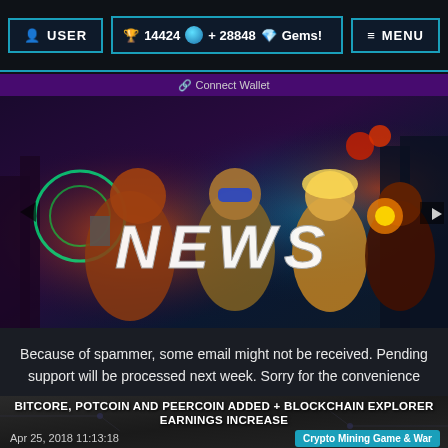USER | 14424 + 28848 Gems! | MENU
Connect Wallet
[Figure (illustration): News banner with colorful game characters and 'NEWS' text overlay]
Because of spammer, some email might not be received. Pending support will be processed next week. Sorry for the convenience
+ Know more
BITCORE, POTCOIN AND PEERCOIN ADDED + BLOCKCHAIN EXPLORER EARNINGS INCREASE
Apr 25, 2018 11:13:18
Crypto Mining Game & War